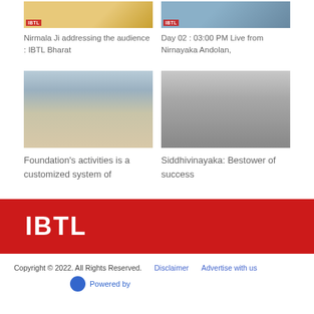[Figure (photo): Cropped top portion of image showing 'SAMVAAD' text with IBTL badge]
[Figure (photo): Cropped top portion of crowd/audience photo with IBTL badge]
Nirmala Ji addressing the audience : IBTL Bharat
Day 02 : 03:00 PM Live from Nirnayaka Andolan,
[Figure (photo): Landscape photo showing sand dunes and cloudy sky — desert scenery]
[Figure (photo): Black and white photo of Ganesha sculpture/idol]
Foundation's activities is a customized system of
Siddhivinayaka: Bestower of success
[Figure (logo): IBTL logo in white on red background banner]
Copyright © 2022. All Rights Reserved.   Disclaimer   Advertise with us
Powered by